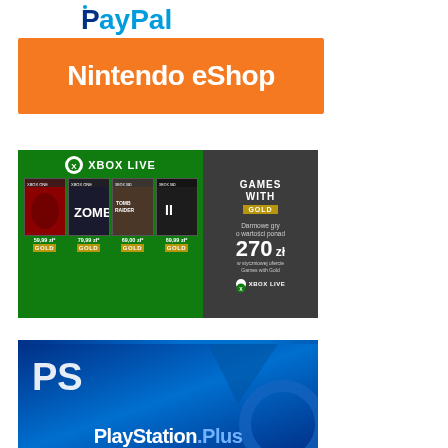[Figure (logo): PayPal logo with blue text on white background]
[Figure (logo): Nintendo eShop logo: white text on orange background]
[Figure (infographic): Xbox Live Games with Gold promotional banner showing 4 game covers (59.99 zł, 79.99 zł, 69.00 zł, 69.99 zł) with GOLD badges, and right panel showing 'GAMES WITH GOLD', '270 zł', 'Darmowe gry o wartości ponad', 'w styczniowej ofercie Games with Gold', Xbox Live logo]
[Figure (logo): PlayStation Plus logo with white text on blue gradient background with PS logo and geometric shapes]